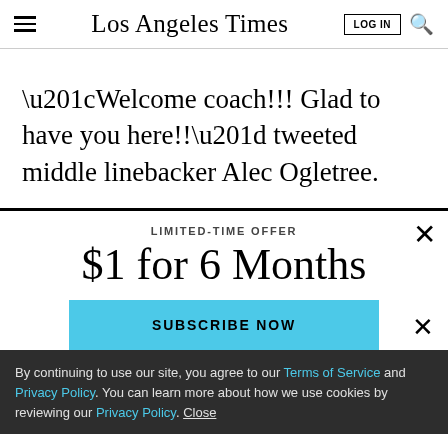Los Angeles Times
“Welcome coach!!! Glad to have you here!!” tweeted middle linebacker Alec Ogletree.
LIMITED-TIME OFFER
$1 for 6 Months
SUBSCRIBE NOW
By continuing to use our site, you agree to our Terms of Service and Privacy Policy. You can learn more about how we use cookies by reviewing our Privacy Policy. Close